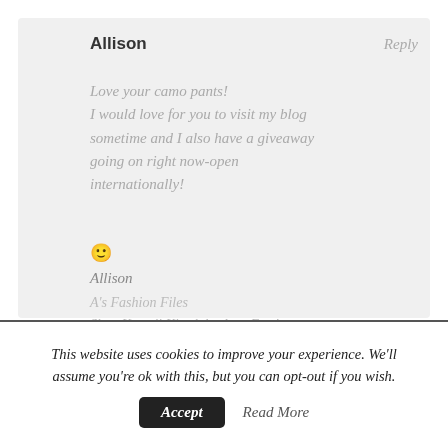[Figure (illustration): Gray circular avatar/profile icon placeholder]
Allison
Reply
Love your camo pants!
I would love for you to visit my blog sometime and I also have a giveaway going on right now-open internationally!
🙂
Allison
A's Fashion Files
Shop Kawaii Kitsch by A on Etsy!
2 ottobre 2012 at 23:23
This website uses cookies to improve your experience. We'll assume you're ok with this, but you can opt-out if you wish. Accept Read More